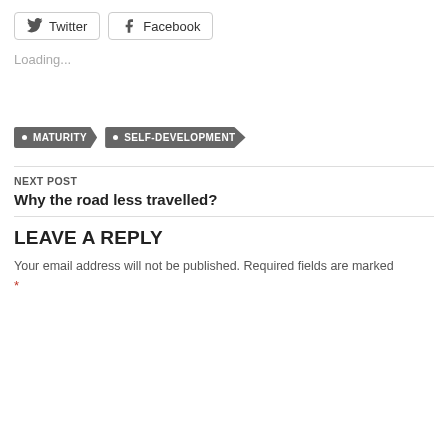[Figure (other): Twitter and Facebook social share buttons with icons]
Loading...
• MATURITY   • SELF-DEVELOPMENT
NEXT POST
Why the road less travelled?
LEAVE A REPLY
Your email address will not be published. Required fields are marked *